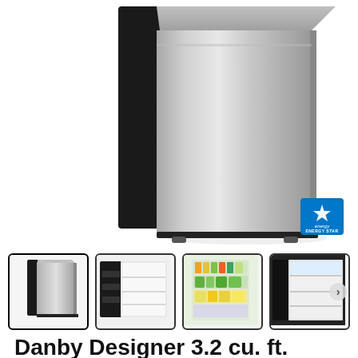[Figure (photo): Main product photo of a Danby Designer 3.2 cu. ft. Compact Refrigerator in stainless steel finish, shown from a front-right angle against a white background. An Energy Star badge is visible in the lower right corner.]
[Figure (photo): Row of four thumbnail images of the refrigerator: 1) exterior stainless steel view (selected/highlighted), 2) open door showing empty white interior, 3) open refrigerator filled with food and beverages, 4) open door showing interior shelving. A right-arrow navigation button is visible on the right side.]
Danby Designer 3.2 cu. ft. Compact Refrigerator